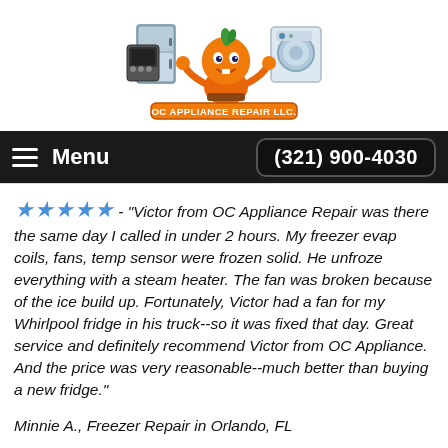[Figure (logo): OC Appliance Repair LLC logo featuring an orange cartoon character holding appliances (refrigerator, washer, oven), with the company name in an orange banner below]
Menu   (321) 900-4030
★★★★★ - "Victor from OC Appliance Repair was there the same day I called in under 2 hours. My freezer evap coils, fans, temp sensor were frozen solid. He unfroze everything with a steam heater. The fan was broken because of the ice build up. Fortunately, Victor had a fan for my Whirlpool fridge in his truck--so it was fixed that day. Great service and definitely recommend Victor from OC Appliance. And the price was very reasonable--much better than buying a new fridge."
Minnie A., Freezer Repair in Orlando, FL